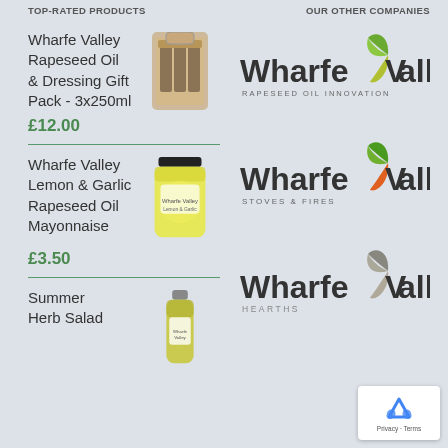TOP-RATED PRODUCTS | OUR OTHER COMPANIES
Wharfe Valley Rapeseed Oil & Dressing Gift Pack - 3x250ml £12.00
Wharfe Valley Lemon & Garlic Rapeseed Oil Mayonnaise £3.50
Summer Herb Salad
[Figure (logo): Wharfe Valley Rapeseed Oil Innovation logo with green/olive leaf motif]
[Figure (logo): Wharfe Valley Stoves & Fires logo with orange/green leaf motif]
[Figure (logo): Wharfe Valley Hearths logo with grey/taupe leaf motif]